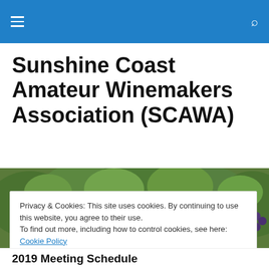Navigation bar with hamburger menu and search icon
Sunshine Coast Amateur Winemakers Association (SCAWA)
[Figure (photo): Vineyard photo showing clusters of dark purple grapes hanging on vines with green leaves]
Privacy & Cookies: This site uses cookies. By continuing to use this website, you agree to their use.
To find out more, including how to control cookies, see here: Cookie Policy
Close and accept
2019 Meeting Schedule